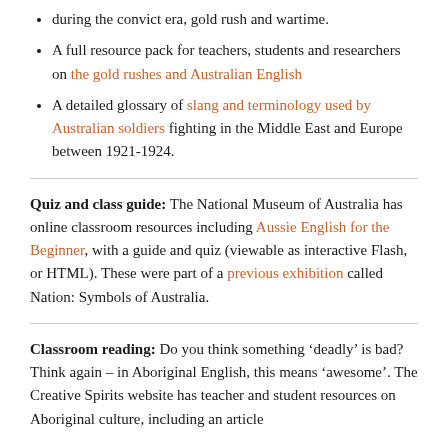during the convict era, gold rush and wartime.
A full resource pack for teachers, students and researchers on the gold rushes and Australian English
A detailed glossary of slang and terminology used by Australian soldiers fighting in the Middle East and Europe between 1921-1924.
Quiz and class guide: The National Museum of Australia has online classroom resources including Aussie English for the Beginner, with a guide and quiz (viewable as interactive Flash, or HTML). These were part of a previous exhibition called Nation: Symbols of Australia.
Classroom reading: Do you think something ‘deadly’ is bad? Think again – in Aboriginal English, this means ‘awesome’. The Creative Spirits website has teacher and student resources on Aboriginal culture, including an article